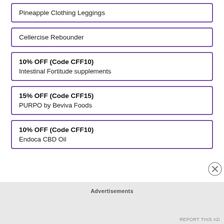Pineapple Clothing Leggings
Cellercise Rebounder
10% OFF (Code CFF10)
Intestinal Fortitude supplements
15% OFF (Code CFF15)
PURPO by Beviva Foods
10% OFF (Code CFF10)
Endoca CBD Oil
Advertisements